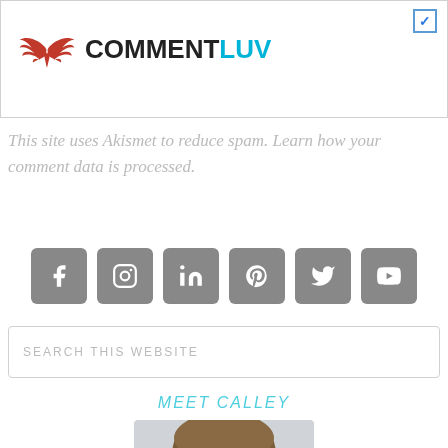[Figure (logo): CommentLuv logo with red wings icon and COMMENTLUV text, with a blue checkbox in top-right]
This site uses Akismet to reduce spam. Learn how your comment data is processed.
[Figure (infographic): Row of 6 social media icon buttons: Facebook, Instagram, LinkedIn, Pinterest, Twitter, YouTube — all gray rounded squares with white icons]
SEARCH THIS WEBSITE
MEET CALLEY
[Figure (photo): Partial photo of a woman with brown/blonde hair, cropped at bottom of page]